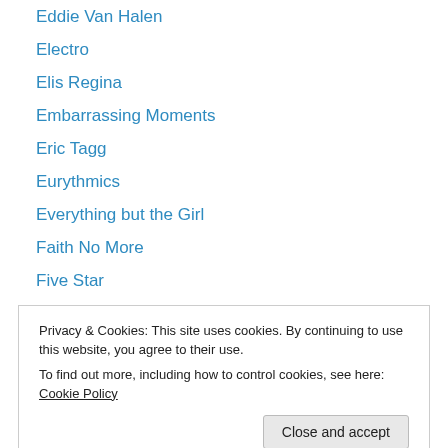Eddie Van Halen
Electro
Elis Regina
Embarrassing Moments
Eric Tagg
Eurythmics
Everything but the Girl
Faith No More
Five Star
Football
Fourteen Days In May
Francis Dunnery
Frank Gambale
Privacy & Cookies: This site uses cookies. By continuing to use this website, you agree to their use. To find out more, including how to control cookies, see here: Cookie Policy
Fr...